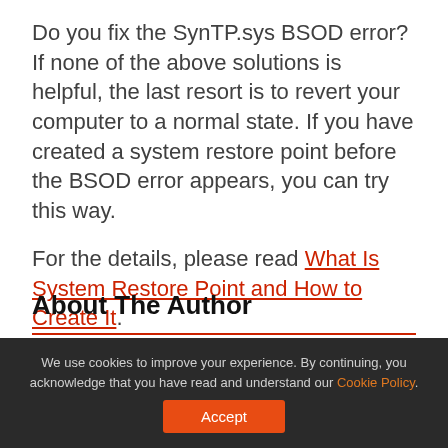Do you fix the SynTP.sys BSOD error? If none of the above solutions is helpful, the last resort is to revert your computer to a normal state. If you have created a system restore point before the BSOD error appears, you can try this way.
For the details, please read What Is System Restore Point and How to Create It.
[Figure (other): Social share icons: Facebook, Twitter, LinkedIn, Reddit]
About The Author
We use cookies to improve your experience. By continuing, you acknowledge that you have read and understand our Cookie Policy.